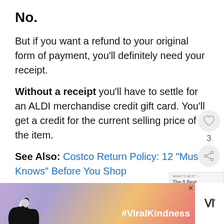No.
But if you want a refund to your original form of payment, you'll definitely need your receipt.
Without a receipt you'll have to settle for an ALDI merchandise credit gift card. You'll get a credit for the current selling price of the item.
See Also: Costco Return Policy: 12 "Must Knows" Before You Shop
[Figure (screenshot): Social media sidebar with heart button showing 3 likes and share button]
[Figure (screenshot): What's Next overlay with Best Return Policies thumbnail and text 'The 8 Best Return...']
[Figure (photo): Advertisement banner with #ViralKindness hashtag showing hands forming a heart shape silhouette against colorful background]